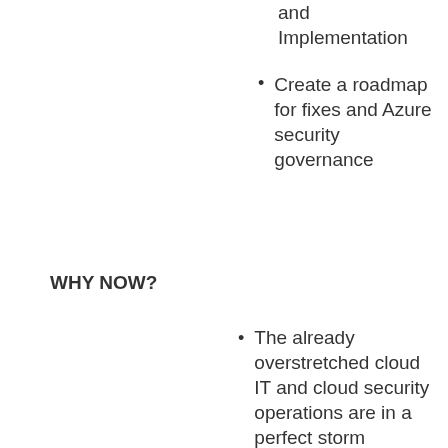and Implementation
Create a roadmap for fixes and Azure security governance
WHY NOW?
The already overstretched cloud IT and cloud security operations are in a perfect storm resulting from the business using digital solutions to protect existing/bringing new revenue from one side and the fact that